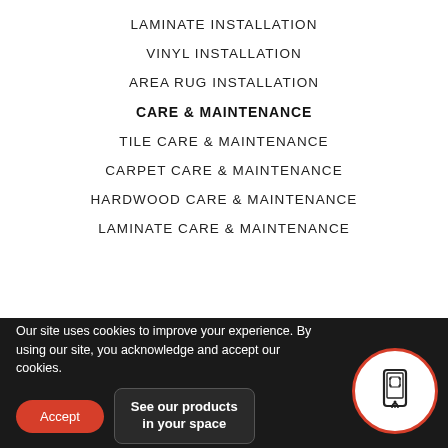LAMINATE INSTALLATION
VINYL INSTALLATION
AREA RUG INSTALLATION
CARE & MAINTENANCE
TILE CARE & MAINTENANCE
CARPET CARE & MAINTENANCE
HARDWOOD CARE & MAINTENANCE
LAMINATE CARE & MAINTENANCE
Our site uses cookies to improve your experience. By using our site, you acknowledge and accept our cookies. | Accept | See our products in your space